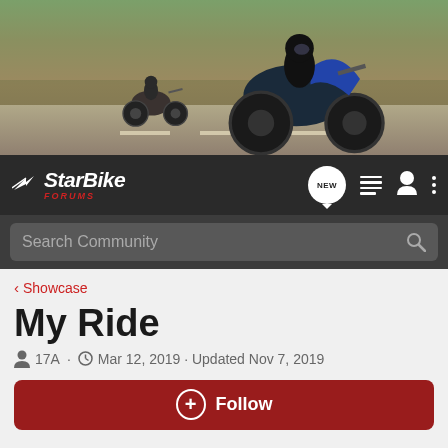[Figure (photo): Hero banner showing motorcyclists riding on a road with trees in the background]
StarBike FORUMS — navigation bar with NEW chat badge, list icon, user icon, and more menu
Search Community
< Showcase
My Ride
17A · Mar 12, 2019 · Updated Nov 7, 2019
+ Follow
Hey, everyone! Enter your bike HERE for the